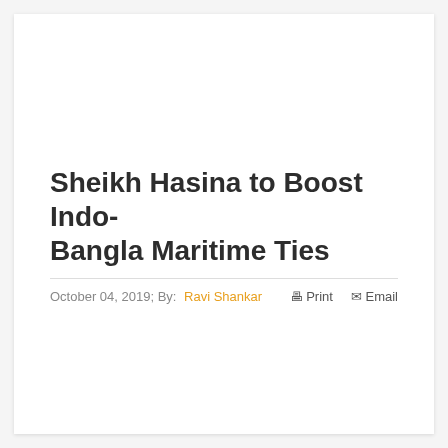Sheikh Hasina to Boost Indo-Bangla Maritime Ties
October 04, 2019; By: Ravi Shankar  🖨 Print  ✉ Email